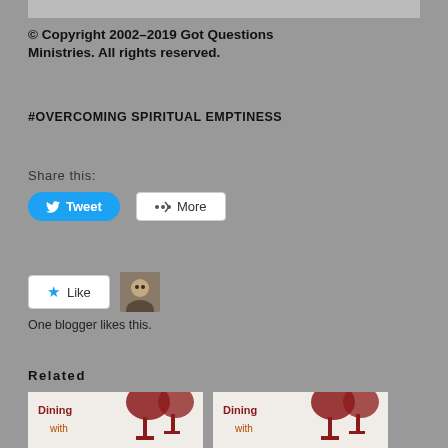[Figure (other): Gray banner/header bar at top of page]
© Copyright 2002–2019 Got Questions Ministries. All rights reserved.
#OVERCOMING SPIRITUAL EMPTINESS
Share this:
[Figure (other): Tweet button (blue rounded) and More button (white outlined) for sharing]
[Figure (other): Like button with star icon and blogger avatar thumbnail]
One blogger likes this.
Related
[Figure (other): Two related post thumbnail images showing 'Dining with' book covers side by side]